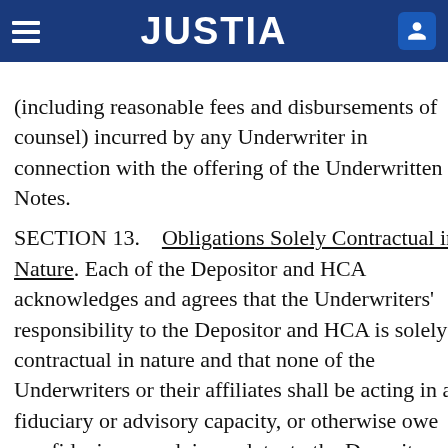JUSTIA
(including reasonable fees and disbursements of counsel) incurred by any Underwriter in connection with the offering of the Underwritten Notes.
SECTION 13.    Obligations Solely Contractual in Nature. Each of the Depositor and HCA acknowledges and agrees that the Underwriters' responsibility to the Depositor and HCA is solely contractual in nature and that none of the Underwriters or their affiliates shall be acting in a fiduciary or advisory capacity, or otherwise owe any fiduciary or advisory duty, to the Depositor or HCA in connection with the offering of the Underwritten Notes and the other transactions contemplated by this Agreement. Each of the Depositor and HCA further agrees that it is not relying on any of the Underwriters for any legal, regulatory, tax, insurance or accounting advise in any jurisdiction and that the Depositor and